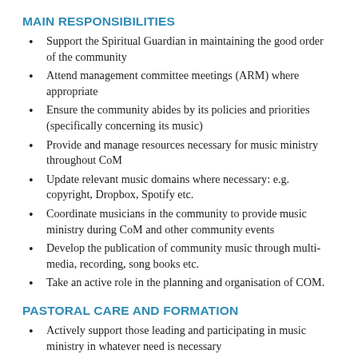MAIN RESPONSIBILITIES
Support the Spiritual Guardian in maintaining the good order of the community
Attend management committee meetings (ARM) where appropriate
Ensure the community abides by its policies and priorities (specifically concerning its music)
Provide and manage resources necessary for music ministry throughout CoM
Update relevant music domains where necessary: e.g. copyright, Dropbox, Spotify etc.
Coordinate musicians in the community to provide music ministry during CoM and other community events
Develop the publication of community music through multi-media, recording, song books etc.
Take an active role in the planning and organisation of COM.
PASTORAL CARE AND FORMATION
Actively support those leading and participating in music ministry in whatever need is necessary
Strive to ensure that all music ministry meets